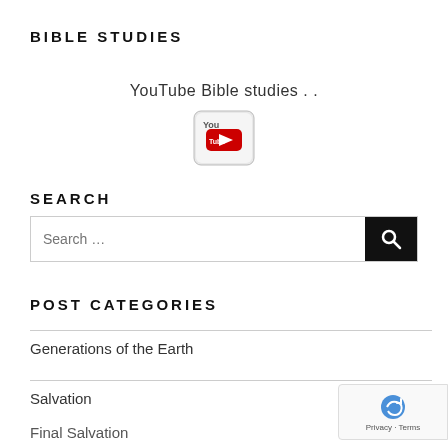BIBLE STUDIES
YouTube Bible studies . .
[Figure (logo): YouTube logo button icon]
SEARCH
[Figure (screenshot): Search input box with search button]
POST CATEGORIES
Generations of the Earth
Salvation
Final Salvation